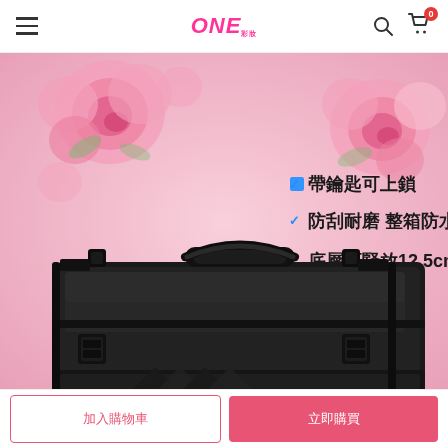ONE (logo) / navigation header with search and cart icons
[Figure (photo): Product promotional image of a black aluminum makeup case/toolbox on a pink rose background. Chinese text overlay reads: 帶鑰匙可上鎖 (lockable with key), 防刮耐磨 整箱防水 (scratch-resistant, whole box waterproof), 底層可豎放12.5cm (bottom layer can stand 12.5cm items). The case is large, black, with latches and a carry handle on top.]
加入購物車
立即購買